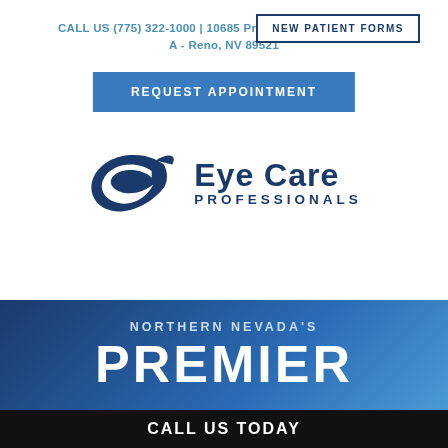CALL US (775) 322-1000 | 10685 Professional Circle, Suite A - Reno, NV 89521
NEW PATIENT FORMS
REQUEST APPOINTMENT
[Figure (logo): Eye Care Professionals logo with stylized blue 'e' swoosh icon and text 'Eye Care Professionals']
NORTHERN NEVADA'S
PREMIER
CALL US TODAY